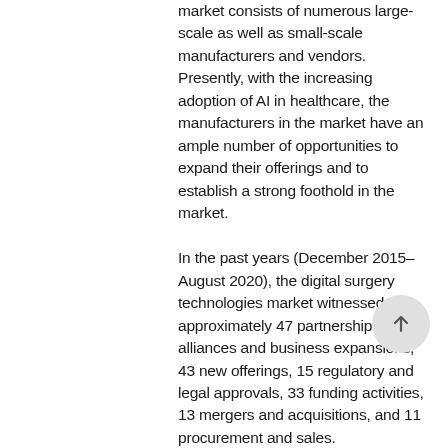market consists of numerous large-scale as well as small-scale manufacturers and vendors. Presently, with the increasing adoption of AI in healthcare, the manufacturers in the market have an ample number of opportunities to expand their offerings and to establish a strong foothold in the market. In the past years (December 2015–August 2020), the digital surgery technologies market witnessed approximately 47 partnerships, alliances and business expansions, 43 new offerings, 15 regulatory and legal approvals, 33 funding activities, 13 mergers and acquisitions, and 11 procurement and sales. Most of the manufacturers in the market are incorporating collaborations and